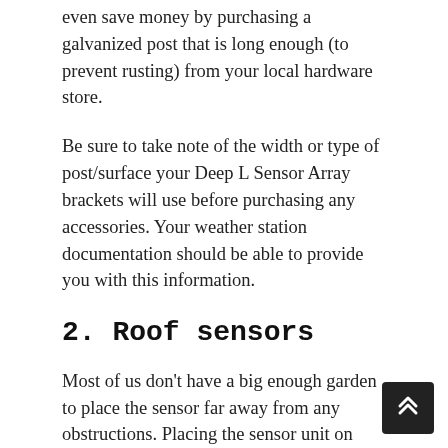even save money by purchasing a galvanized post that is long enough (to prevent rusting) from your local hardware store.
Be sure to take note of the width or type of post/surface your Deep L Sensor Array brackets will use before purchasing any accessories. Your weather station documentation should be able to provide you with this information.
2. Roof sensors
Most of us don't have a big enough garden to place the sensor far away from any obstructions. Placing the sensor unit on your roof or mounting it sideways on a pole about 2.5 meters from the bottom of the roof will give you the best possible readings for all weather conditions.
Attention! This is a potentially dangerous exercise,